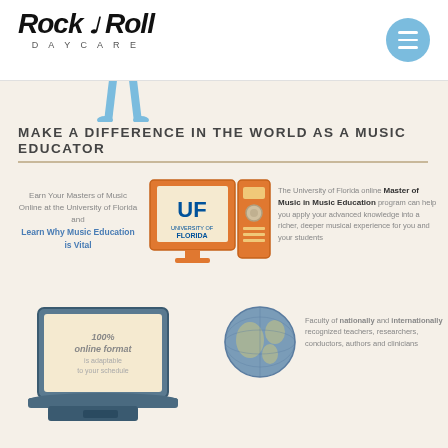[Figure (logo): Rock & Roll Daycare logo with musical note]
[Figure (infographic): Menu button - blue circle with three horizontal white lines]
[Figure (illustration): Partial figure of a person at top of beige content area]
MAKE A DIFFERENCE IN THE WORLD AS A MUSIC EDUCATOR
Earn Your Masters of Music Online at the University of Florida and Learn Why Music Education is Vital
[Figure (illustration): Orange UF (University of Florida) branded desktop computer monitor and tower]
The University of Florida online Master of Music in Music Education program can help you apply your advanced knowledge into a richer, deeper musical experience for you and your students
[Figure (illustration): Illustration of a laptop with text '100% online format is adaptable to your schedule']
[Figure (illustration): Globe illustration]
Faculty of nationally and internationally recognized teachers, researchers, conductors, authors and clinicians